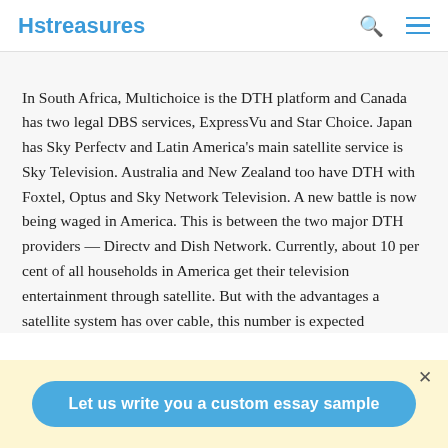Hstreasures
In South Africa, Multichoice is the DTH platform and Canada has two legal DBS services, ExpressVu and Star Choice. Japan has Sky Perfectv and Latin America's main satellite service is Sky Television. Australia and New Zealand too have DTH with Foxtel, Optus and Sky Network Television. A new battle is now being waged in America. This is between the two major DTH providers — Directv and Dish Network. Currently, about 10 per cent of all households in America get their television entertainment through satellite. But with the advantages a satellite system has over cable, this number is expected
Let us write you a custom essay sample